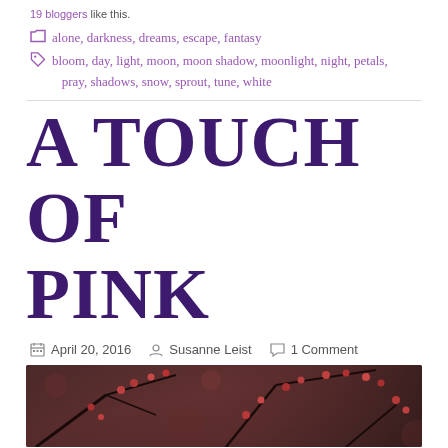19 bloggers like this.
alone, darkness, dreams, escape, fantasy
bloom, day, light, moon, moon shadow, moonlight, night, petals, pray, shadows, snow, sprout, tune, white
A TOUCH OF PINK
April 20, 2016   Susanne Leist   1 Comment
[Figure (photo): Close-up photo of branches with small red/pink berries or buds against a dark blurred background]